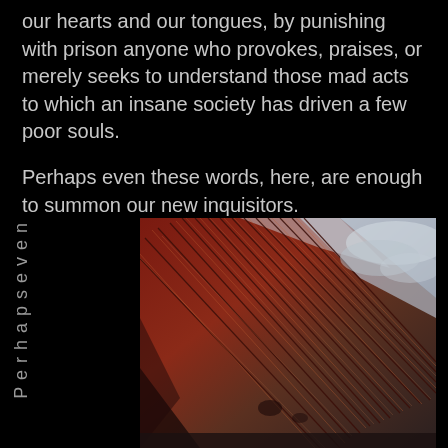our hearts and our tongues, by punishing with prison anyone who provokes, praises, or merely seeks to understand those mad acts to which an insane society has driven a few poor souls.
Perhaps even these words, here, are enough to summon our new inquisitors.
P e r h a p s e v e n
[Figure (photo): Aerial or satellite photograph showing red-brown sand dunes or ridged terrain on the left side, transitioning to grey-white cloud or rocky terrain on the right, viewed from above at an angle.]